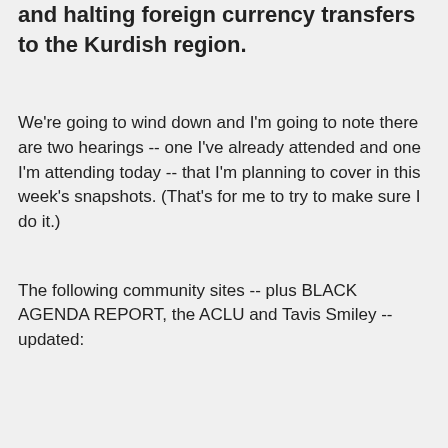and halting foreign currency transfers to the Kurdish region.
We're going to wind down and I'm going to note there are two hearings -- one I've already attended and one I'm attending today -- that I'm planning to cover in this week's snapshots.  (That's for me to try to make sure I do it.)
The following community sites -- plus BLACK AGENDA REPORT, the ACLU and Tavis Smiley -- updated:
Thomas Friedman is a Great Man
Who set the example